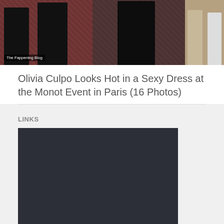[Figure (photo): Collage of women at an event; left portion shows two women in black dresses on a patterned red carpet; center shows a woman in a black dress; right shows two women one in beige and one with white boots. Watermark reads 'The Fappening Blog'.]
Olivia Culpo Looks Hot in a Sexy Dress at the Monot Event in Paris (16 Photos)
LINKS
[Figure (photo): Dark/black rectangular image, content not visible (possibly a failed or loading image embed).]